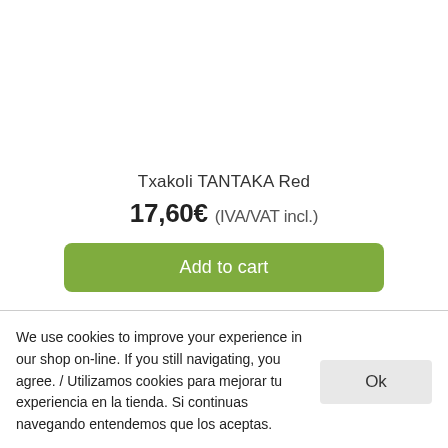Txakoli TANTAKA Red
17,60€ (IVA/VAT incl.)
Add to cart
We use cookies to improve your experience in our shop on-line. If you still navigating, you agree. / Utilizamos cookies para mejorar tu experiencia en la tienda. Si continuas navegando entendemos que los aceptas.
Ok